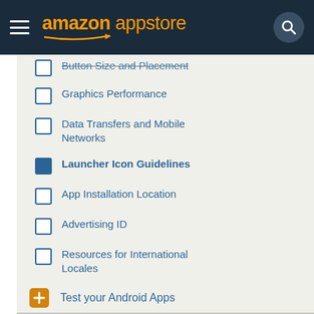amazon appstore
Button Size and Placement
Graphics Performance
Data Transfers and Mobile Networks
Launcher Icon Guidelines
App Installation Location
Advertising ID
Resources for International Locales
Test your Android Apps
Web Apps
Test Your Web Apps
HTML5 Hybrid Apps
Accessibility
Reference